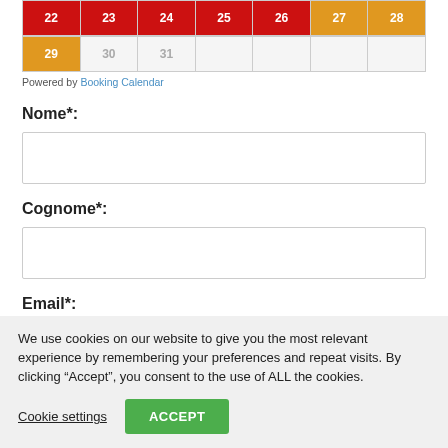| 22 | 23 | 24 | 25 | 26 | 27 | 28 |
| --- | --- | --- | --- | --- | --- | --- |
| 29 | 30 | 31 |  |  |  |  |
Powered by Booking Calendar
Nome*:
Cognome*:
Email*:
We use cookies on our website to give you the most relevant experience by remembering your preferences and repeat visits. By clicking “Accept”, you consent to the use of ALL the cookies.
Cookie settings
ACCEPT